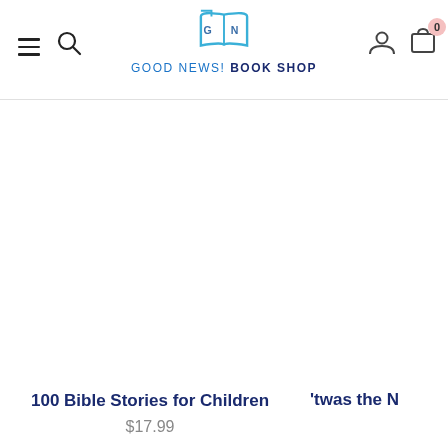GOOD NEWS! BOOK SHOP
100 Bible Stories for Children
$17.99
'twas the N